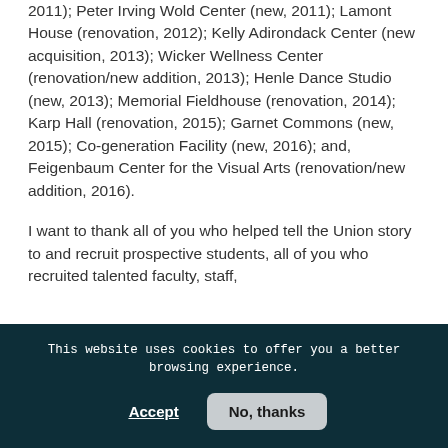2011); Peter Irving Wold Center (new, 2011); Lamont House (renovation, 2012); Kelly Adirondack Center (new acquisition, 2013); Wicker Wellness Center (renovation/new addition, 2013); Henle Dance Studio (new, 2013); Memorial Fieldhouse (renovation, 2014); Karp Hall (renovation, 2015); Garnet Commons (new, 2015); Co-generation Facility (new, 2016); and, Feigenbaum Center for the Visual Arts (renovation/new addition, 2016).
I want to thank all of you who helped tell the Union story to and recruit prospective students, all of you who recruited talented faculty, staff,
This website uses cookies to offer you a better browsing experience.